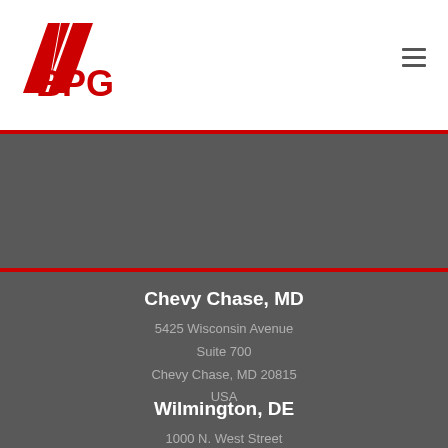[Figure (logo): BPG logo with red parallelogram shapes and red BPG text]
Chevy Chase, MD
5425 Wisconsin Avenue
Suite 700
Chevy Chase, MD 20815
USA
Wilmington, DE
1000 N. West Street